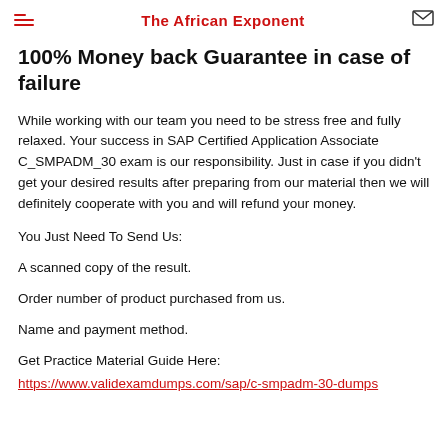The African Exponent
100% Money back Guarantee in case of failure
While working with our team you need to be stress free and fully relaxed. Your success in SAP Certified Application Associate C_SMPADM_30 exam is our responsibility. Just in case if you didn't get your desired results after preparing from our material then we will definitely cooperate with you and will refund your money.
You Just Need To Send Us:
A scanned copy of the result.
Order number of product purchased from us.
Name and payment method.
Get Practice Material Guide Here:
https://www.validexamdumps.com/sap/c-smpadm-30-dumps